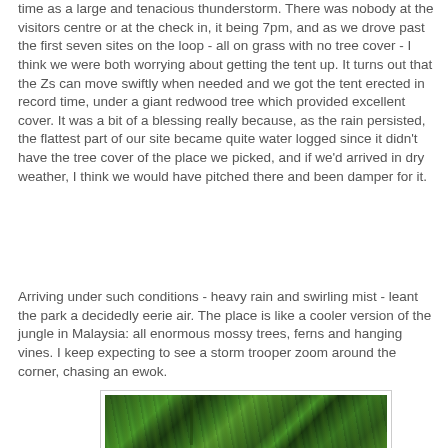time as a large and tenacious thunderstorm. There was nobody at the visitors centre or at the check in, it being 7pm, and as we drove past the first seven sites on the loop - all on grass with no tree cover - I think we were both worrying about getting the tent up. It turns out that the Zs can move swiftly when needed and we got the tent erected in record time, under a giant redwood tree which provided excellent cover. It was a bit of a blessing really because, as the rain persisted, the flattest part of our site became quite water logged since it didn't have the tree cover of the place we picked, and if we'd arrived in dry weather, I think we would have pitched there and been damper for it.
Arriving under such conditions - heavy rain and swirling mist - leant the park a decidedly eerie air. The place is like a cooler version of the jungle in Malaysia: all enormous mossy trees, ferns and hanging vines. I keep expecting to see a storm trooper zoom around the corner, chasing an ewok.
[Figure (photo): Photograph of a dense, mossy forest with large green trees, ferns and hanging vines, taken in misty conditions reminiscent of a jungle.]